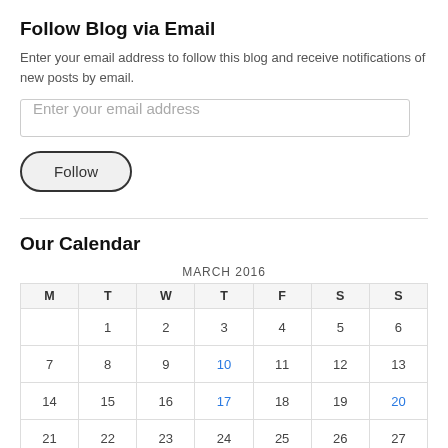Follow Blog via Email
Enter your email address to follow this blog and receive notifications of new posts by email.
[Figure (other): Email input field with placeholder text 'Enter your email address']
[Figure (other): Follow button with rounded pill border]
Our Calendar
| M | T | W | T | F | S | S |
| --- | --- | --- | --- | --- | --- | --- |
|  | 1 | 2 | 3 | 4 | 5 | 6 |
| 7 | 8 | 9 | 10 | 11 | 12 | 13 |
| 14 | 15 | 16 | 17 | 18 | 19 | 20 |
| 21 | 22 | 23 | 24 | 25 | 26 | 27 |
| 28 | 29 | 30 | 31 |  |  |  |